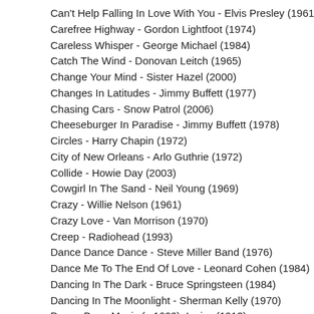Can't Help Falling In Love With You - Elvis Presley (1961)
Carefree Highway - Gordon Lightfoot (1974)
Careless Whisper - George Michael (1984)
Catch The Wind - Donovan Leitch (1965)
Change Your Mind - Sister Hazel (2000)
Changes In Latitudes - Jimmy Buffett (1977)
Chasing Cars - Snow Patrol (2006)
Cheeseburger In Paradise - Jimmy Buffett (1978)
Circles - Harry Chapin (1972)
City of New Orleans - Arlo Guthrie (1972)
Collide - Howie Day (2003)
Cowgirl In The Sand - Neil Young (1969)
Crazy - Willie Nelson (1961)
Crazy Love - Van Morrison (1970)
Creep - Radiohead (1993)
Dance Dance Dance - Steve Miller Band (1976)
Dance Me To The End Of Love - Leonard Cohen (1984)
Dancing In The Dark - Bruce Springsteen (1984)
Dancing In The Moonlight - Sherman Kelly (1970)
Danny Boy - Music (c.1600), Lyrics (1913)